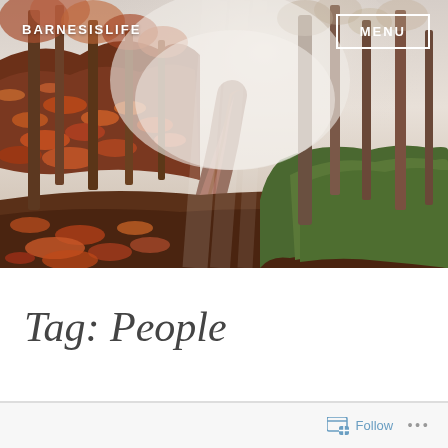[Figure (photo): Autumn forest path with fallen orange-red leaves, misty fog between tall trees, path leads into foggy distance, green undergrowth on right side]
BARNESISLIFE
MENU
Tag: People
Follow ...